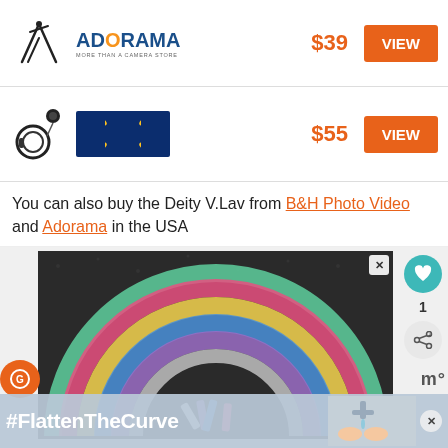[Figure (other): Product listing row: tripod/stand product image, Adorama logo, $39 price, VIEW button]
[Figure (other): Product listing row: lavalier microphone product image, Walmart logo, $55 price, VIEW button]
You can also buy the Deity V.Lav from B&H Photo Video and Adorama in the USA
[Figure (photo): Chalk rainbow drawing on dark pavement/asphalt with chalk sticks visible, partially visible advertisement overlay at bottom with #FlattenTheCurve text and hand-washing image]
#FlattenTheCurve